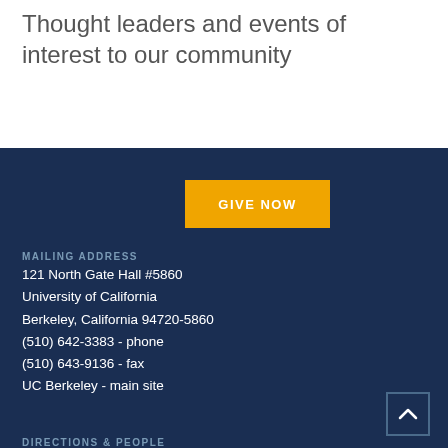Thought leaders and events of interest to our community
GIVE NOW
MAILING ADDRESS
121 North Gate Hall #5860
University of California
Berkeley, California 94720-5860
(510) 642-3383 - phone
(510) 643-9136 - fax
UC Berkeley - main site
DIRECTIONS & PEOPLE